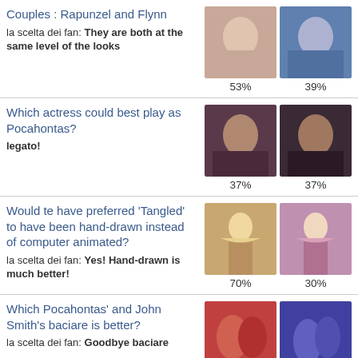Couples : Rapunzel and Flynn
la scelta dei fan: They are both at the same level of the looks
53%  39%
Which actress could best play as Pocahontas?
legato!
37%  37%
Would te have preferred 'Tangled' to have been hand-drawn instead of computer animated?
la scelta dei fan: Yes! Hand-drawn is much better!
70%  30%
Which Pocahontas' and John Smith's baciare is better?
la scelta dei fan: Goodbye baciare
54%  46%
Do te think Cinderella's father loved Lady Tremaine?